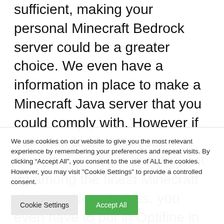sufficient, making your personal Minecraft Bedrock server could be a greater choice. We even have a information in place to make a Minecraft Java server that you could comply with. However if you wish to elevate your expertise on these servers, set up among the finest Minecraft shaders. Nonetheless, you even have to put in Optifine in Minecraft to run them and enhance the general efficiency. Higher graphics or not, these servers assure loads of enjoyable time with your mates. So
We use cookies on our website to give you the most relevant experience by remembering your preferences and repeat visits. By clicking “Accept All”, you consent to the use of ALL the cookies. However, you may visit "Cookie Settings" to provide a controlled consent.